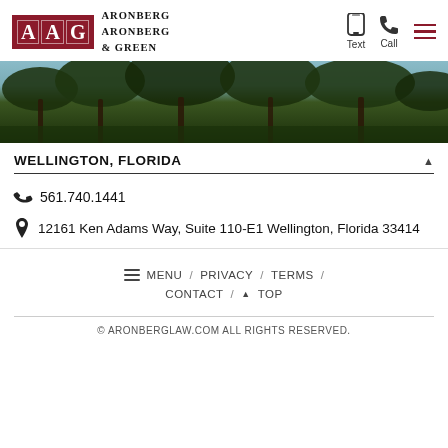[Figure (logo): AAG Aronberg Aronberg & Green law firm logo with red square grid letters and serif text]
[Figure (photo): Wide banner photo of palm trees against a sky background]
WELLINGTON, FLORIDA
561.740.1441
12161 Ken Adams Way, Suite 110-E1 Wellington, Florida 33414
MENU / PRIVACY / TERMS / CONTACT / TOP
© ARONBERGLAW.COM ALL RIGHTS RESERVED.